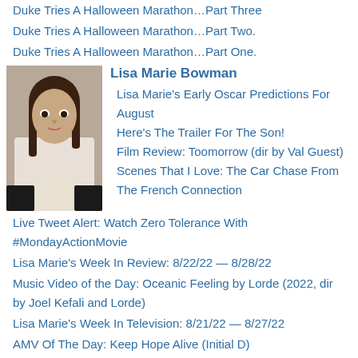Duke Tries A Halloween Marathon…Part Three
Duke Tries A Halloween Marathon…Part Two.
Duke Tries A Halloween Marathon…Part One.
Lisa Marie Bowman
Lisa Marie's Early Oscar Predictions For August
Here's The Trailer For The Son!
Film Review: Toomorrow (dir by Val Guest)
Scenes That I Love: The Car Chase From The French Connection
Live Tweet Alert: Watch Zero Tolerance With #MondayActionMovie
Lisa Marie's Week In Review: 8/22/22 — 8/28/22
Music Video of the Day: Oceanic Feeling by Lorde (2022, dir by Joel Kefali and Lorde)
Lisa Marie's Week In Television: 8/21/22 — 8/27/22
AMV Of The Day: Keep Hope Alive (Initial D)
Live Tweet Alert: Watch The Texas Chainsaw Massacre Part 2 with #ScarySocial
Leonard Wilson
Pooh and Piglet go on a rampage in the Winnie the Pooh: Blood and Honey Trailer